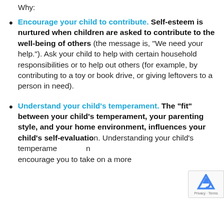Why:
Encourage your child to contribute. Self-esteem is nurtured when children are asked to contribute to the well-being of others (the message is, “We need your help.”). Ask your child to help with certain household responsibilities or to help out others (for example, by contributing to a toy or book drive, or giving leftovers to a person in need).
Understand your child’s temperament. The “fit” between your child’s temperament, your parenting style, and your home environment, influences your child’s self-evaluation. Understanding your child’s temperament can encourage you to take on a more